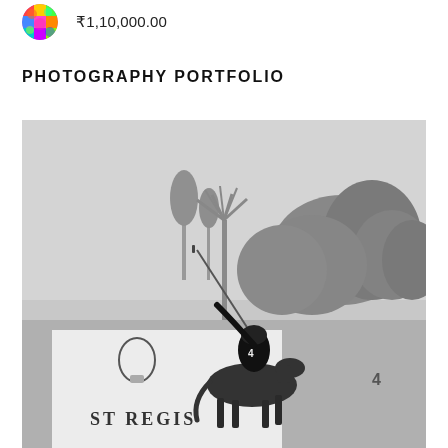[Figure (photo): Colorful circular avatar/profile image with abstract multicolored pattern]
₹1,10,000.00
PHOTOGRAPHY PORTFOLIO
[Figure (photo): Black and white photograph of a polo player on horseback swinging a mallet, with trees in background and a St Regis branded banner/board visible at bottom of the image]